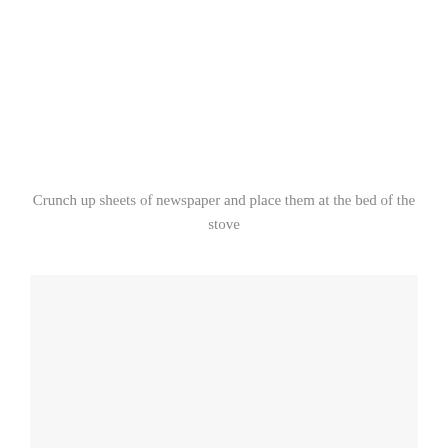Crunch up sheets of newspaper and place them at the bed of the stove
[Figure (photo): Light gray rectangular image placeholder area below the text]